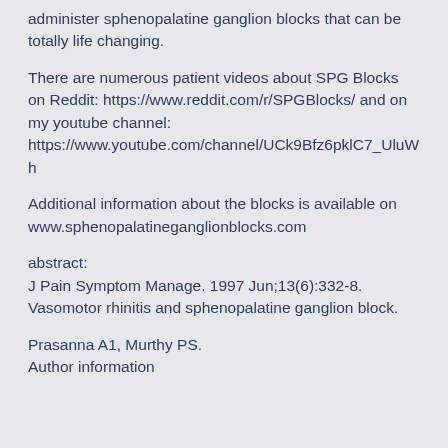administer sphenopalatine ganglion blocks that can be totally life changing.
There are numerous patient videos about SPG Blocks on Reddit: https://www.reddit.com/r/SPGBlocks/ and on my youtube channel: https://www.youtube.com/channel/UCk9Bfz6pklC7_UluWh
Additional information about the blocks is available on www.sphenopalatineganglionblocks.com
abstract:
J Pain Symptom Manage. 1997 Jun;13(6):332-8.
Vasomotor rhinitis and sphenopalatine ganglion block.
Prasanna A1, Murthy PS.
Author information